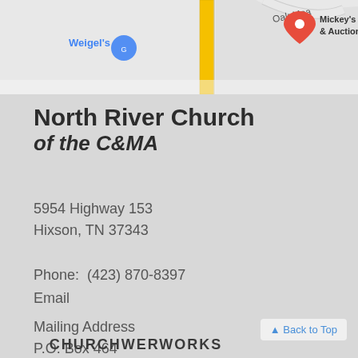[Figure (map): Google Maps screenshot showing Weigel's, Mickey's Antiques & Auction, Wilder road, and Oak Meadow area]
North River Church of the C&MA
5954 Highway 153
Hixson, TN 37343
Phone:  (423) 870-8397
Email
Mailing Address
P.O. Box 464
Hixson,  TN  37343
▲ Back to Top
CHURCHWERWORKS